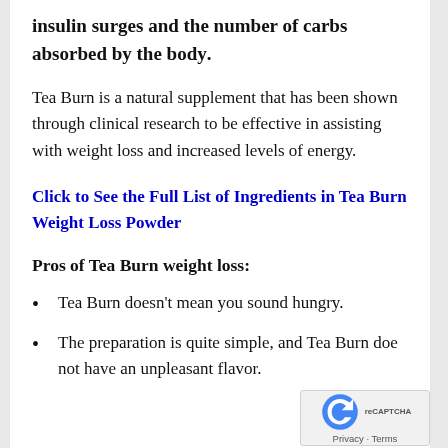insulin surges and the number of carbs absorbed by the body.
Tea Burn is a natural supplement that has been shown through clinical research to be effective in assisting with weight loss and increased levels of energy.
Click to See the Full List of Ingredients in Tea Burn Weight Loss Powder
Pros of Tea Burn weight loss:
Tea Burn doesn’t mean you sound hungry.
The preparation is quite simple, and Tea Burn does not have an unpleasant flavor.